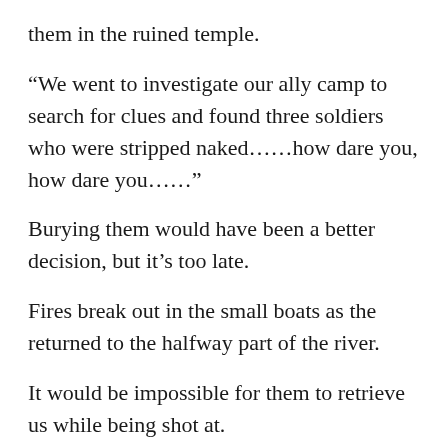them in the ruined temple.
“We went to investigate our ally camp to search for clues and found three soldiers who were stripped naked……how dare you, how dare you……”
Burying them would have been a better decision, but it’s too late.
Fires break out in the small boats as the returned to the halfway part of the river.
It would be impossible for them to retrieve us while being shot at.
*** You are reading on https://webnovelonline.com